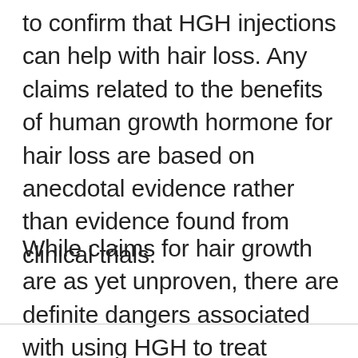to confirm that HGH injections can help with hair loss. Any claims related to the benefits of human growth hormone for hair loss are based on anecdotal evidence rather than evidence found from clinical trials.
While claims for hair growth are as yet unproven, there are definite dangers associated with using HGH to treat conditions for which it is not intended.